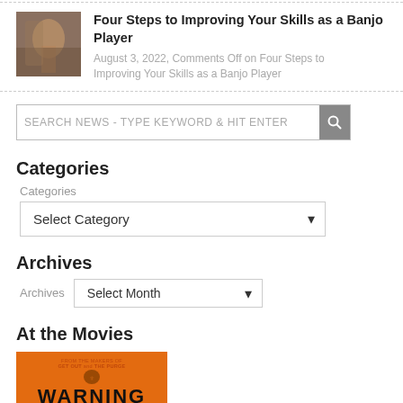[Figure (photo): Thumbnail image of banjo player hands on instrument]
Four Steps to Improving Your Skills as a Banjo Player
August 3, 2022, Comments Off on Four Steps to Improving Your Skills as a Banjo Player
SEARCH NEWS - TYPE KEYWORD & HIT ENTER
Categories
Categories
Select Category
Archives
Archives
Select Month
At the Movies
[Figure (photo): Orange warning sign movie poster thumbnail with WARNING text at the bottom]